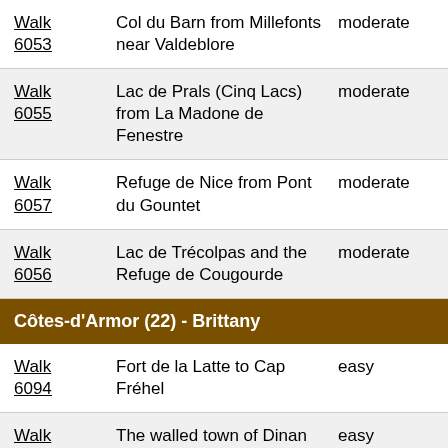| Walk | Description | Difficulty |
| --- | --- | --- |
| Walk 6053 | Col du Barn from Millefonts near Valdeblore | moderate |
| Walk 6055 | Lac de Prals (Cinq Lacs) from La Madone de Fenestre | moderate |
| Walk 6057 | Refuge de Nice from Pont du Gountet | moderate |
| Walk 6056 | Lac de Trécolpas and the Refuge de Cougourde | moderate |
| SECTION: Côtes-d'Armor (22) - Brittany |  |  |
| Walk 6094 | Fort de la Latte to Cap Fréhel | easy |
| Walk 6095 | The walled town of Dinan | easy |
| SECTION: GR10 - Hendaye to Banyuls |  |  |
| Walk | Walking the GR10 from Hendaye... | hard |